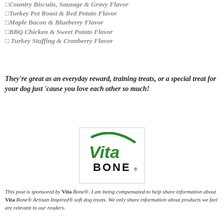Country Biscuits, Sausage & Gravy Flavor
Turkey Pot Roast & Red Potato Flavor
Maple Bacon & Blueberry Flavor
BBQ Chicken & Sweet Potato Flavor
Turkey Stuffing & Cranberry Flavor
They're great as an everyday reward, training treats, or a special treat for your dog just 'cause you love each other so much!
[Figure (logo): Vita Bone logo with green cursive Vita text and bold black BONE text]
This post is sponsored by Vita Bone®. I am being compensated to help share information about Vita Bone® Artisan Inspired® soft dog treats. We only share information about products we feel are relevant to our readers.